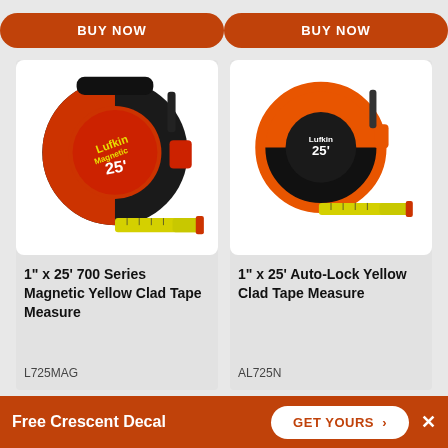BUY NOW
BUY NOW
[Figure (photo): Lufkin Magnetic 25ft tape measure - black and red housing with yellow clad tape extended, 1 inch x 25 foot 700 Series]
1" x 25' 700 Series Magnetic Yellow Clad Tape Measure
L725MAG
[Figure (photo): Lufkin Auto-Lock 25ft tape measure - orange and black housing with yellow clad tape extended, 1 inch x 25 foot]
1" x 25' Auto-Lock Yellow Clad Tape Measure
AL725N
Free Crescent Decal
GET YOURS >